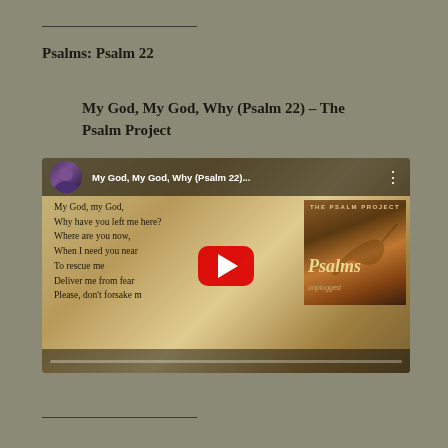Psalms: Psalm 22
My God, My God, Why (Psalm 22) – The Psalm Project
[Figure (screenshot): YouTube video thumbnail for 'My God, My God, Why (Psalm 22)...' by The Psalm Project. Shows lyrics over aged parchment background with album art for 'Psalms unplugged' and a red YouTube play button in the center.]